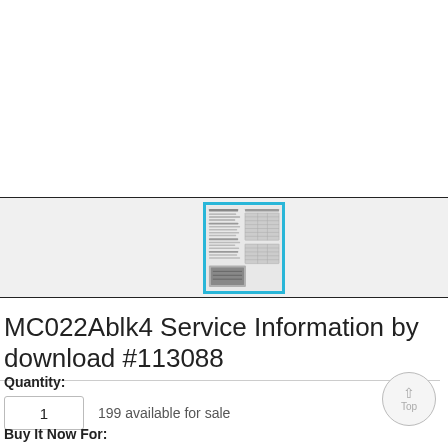[Figure (screenshot): Thumbnail image of a service information document page with text columns and a table, highlighted with a cyan/blue border]
MC022Ablk4 Service Information by download #113088
Quantity:
1   199 available for sale
Buy It Now For: